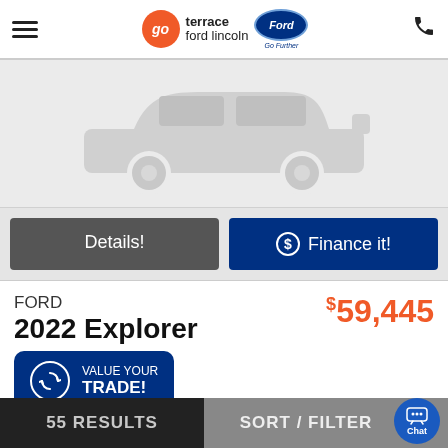go terrace ford lincoln | Ford Go Further
[Figure (illustration): Silhouette placeholder image of an SUV/vehicle in light gray on a light gray background]
Details! | Finance it!
FORD
2022 Explorer
XLT
$59,445
VALUE YOUR TRADE!
150 KM. Auto. Black
55 RESULTS | SORT / FILTER | Chat